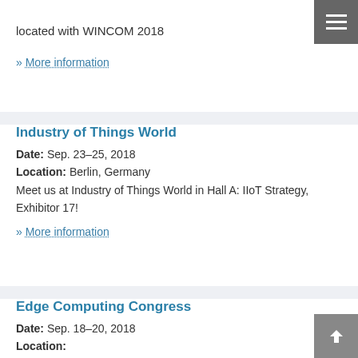located with WINCOM 2018
» More information
Industry of Things World
Date: Sep. 23–25, 2018
Location: Berlin, Germany
Meet us at Industry of Things World in Hall A: IIoT Strategy, Exhibitor 17!
» More information
Edge Computing Congress
Date: Sep. 18–20, 2018
Location: